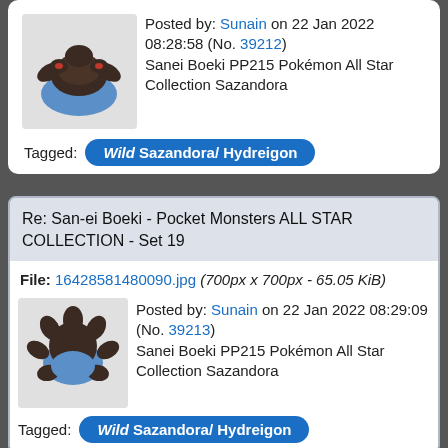Posted by: Sunain on 22 Jan 2022 08:28:58 (No. 39212)
Sanei Boeki PP215 Pokémon All Star Collection Sazandora
[Figure (photo): Photo of a Sazandora/Hydreigon Pokemon plush figure, dark brown with blue body, crawling pose]
Tagged: Wild Sazandora/ Hydreigon
Re: San-ei Boeki - Pocket Monsters ALL STAR COLLECTION - Set 19
File: 16428581480090.jpg (700px x 700px - 65.05 KiB)
[Figure (photo): Photo of a Sazandora/Hydreigon Pokemon plush figure viewed from above, dark brown with blue body]
Posted by: Sunain on 22 Jan 2022 08:29:09 (No. 39213)
Sanei Boeki PP215 Pokémon All Star Collection Sazandora
Tagged: Wild Sazandora/ Hydreigon